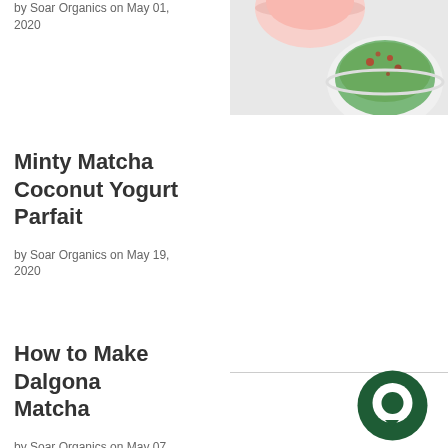by Soar Organics on May 01, 2020
[Figure (photo): Two bowls photographed from above on a light background — one with pink/red contents and one with a green matcha-colored smoothie topped with red berry pieces]
Minty Matcha Coconut Yogurt Parfait
by Soar Organics on May 19, 2020
How to Make Dalgona Matcha
by Soar Organics on May 07,
[Figure (logo): Dark green circular chat bubble icon]